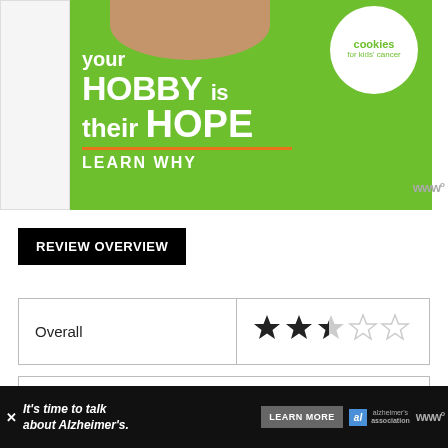[Figure (illustration): Cookies for Kids' Cancer advertisement banner. Green background with white bold text reading 'your HOBBY is their HOPE' with an orange underline, 'LEARN WHY' in white. White circle logo in top right with 'cookies for kids' cancer' in green text. Top shows hands holding a heart-shaped cookie.]
REVIEW OVERVIEW
| Overall | Rating |
| --- | --- |
| Overall | 2.5 out of 5 stars |
[Figure (screenshot): Bottom portion of a review card, partially visible]
[Figure (illustration): Alzheimer's Association advertisement banner. Black background with white italic text: 'It's time to talk about Alzheimer's.' with LEARN MORE button and Alzheimer's Association logo.]